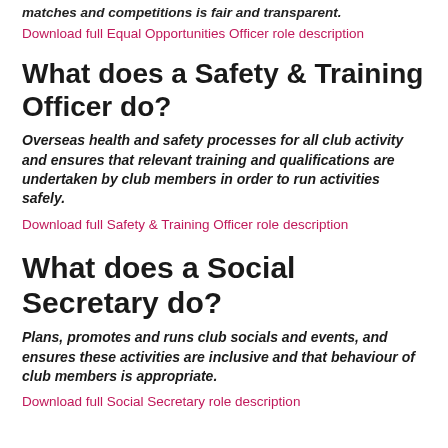matches and competitions is fair and transparent.
Download full Equal Opportunities Officer role description
What does a Safety & Training Officer do?
Overseas health and safety processes for all club activity and ensures that relevant training and qualifications are undertaken by club members in order to run activities safely.
Download full Safety & Training Officer role description
What does a Social Secretary do?
Plans, promotes and runs club socials and events, and ensures these activities are inclusive and that behaviour of club members is appropriate.
Download full Social Secretary role description